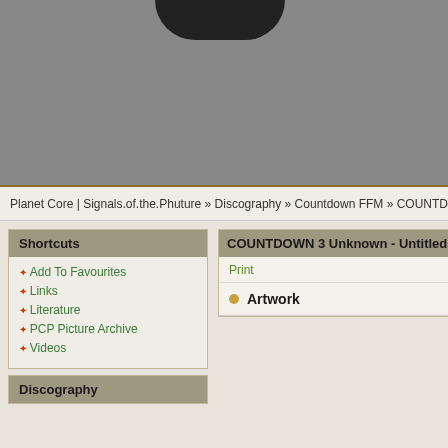[Figure (photo): Gray background header image with a dark silhouette figure at the top center]
Planet Core | Signals.of.the.Phuture » Discography » Countdown FFM » COUNTDOWN 3 Unknown -
Shortcuts
Add To Favourites
Links
Literature
PCP Picture Archive
Videos
Discography
COUNTDOWN 3 Unknown - Untitled
Print
Artwork